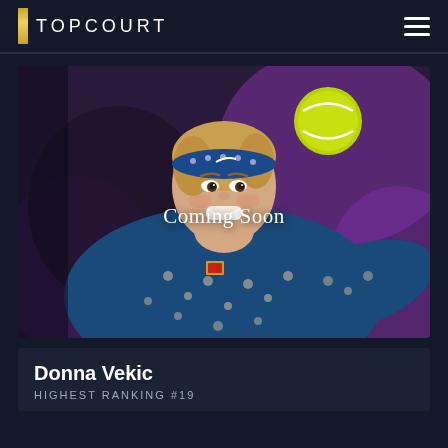TOPCOURT
[Figure (photo): Female tennis player (Donna Vekic) smiling and hitting a tennis ball, wearing a blue patterned Nike jacket and blue Nike headband. A yellow tennis ball is visible in the upper right. Background is dark purple/bokeh. Text overlay reads 'Coming Soon'.]
Coming Soon
Donna Vekic
HIGHEST RANKING #19